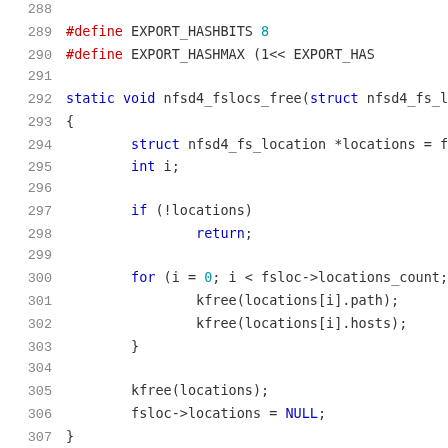Source code listing, lines 288-309, C language
288
289  #define EXPORT_HASHBITS   8
290  #define EXPORT_HASHMAX   (1<< EXPORT_HAS
291
292  static void nfsd4_fslocs_free(struct nfsd4_fs_l
293  {
294          struct nfsd4_fs_location *locations = f
295          int i;
296
297          if (!locations)
298                  return;
299
300          for (i = 0; i < fsloc->locations_count;
301                  kfree(locations[i].path);
302                  kfree(locations[i].hosts);
303          }
304
305          kfree(locations);
306          fsloc->locations = NULL;
307  }
308
309  static void svc_export_put(struct kref *ref)